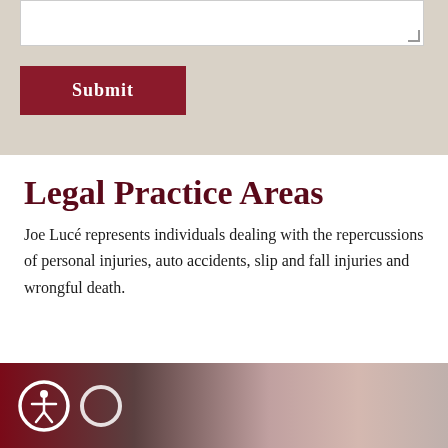[Figure (screenshot): Beige/tan form section with a white textarea input field (partially visible at top) and a dark red Submit button below it.]
Legal Practice Areas
Joe Lucé represents individuals dealing with the repercussions of personal injuries, auto accidents, slip and fall injuries and wrongful death.
[Figure (photo): Dark red tinted photo strip showing medical monitoring equipment and a person, with an accessibility icon (person in circle) on the left and a partial white circle beside it.]